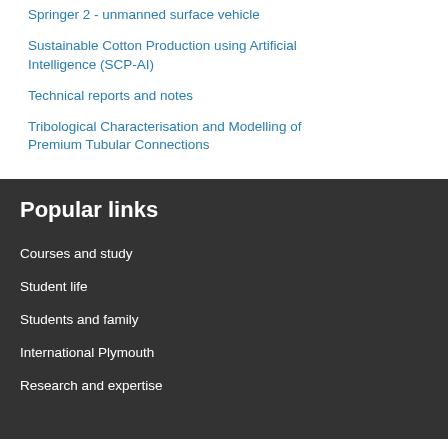Springer 2 - unmanned surface vehicle
Sustainable Cotton Production using Artificial Intelligence (SCP-AI)
Technical reports and notes
Tribological Characterisation and Modelling of Premium Tubular Connections
Popular links
Courses and study
Student life
Students and family
International Plymouth
Research and expertise